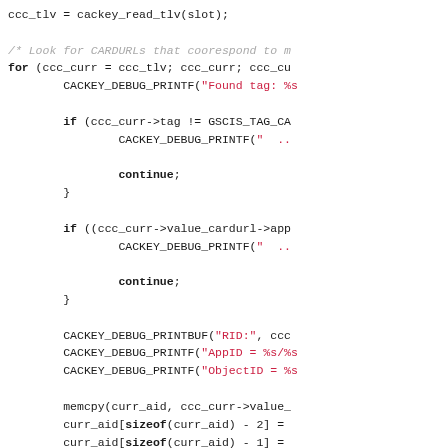ccc_tlv = cackey_read_tlv(slot);

/* Look for CARDURLs that coorespond to ...
for (ccc_curr = ccc_tlv; ccc_curr; ccc_cu...
        CACKEY_DEBUG_PRINTF("Found tag: %...

        if (ccc_curr->tag != GSCIS_TAG_CA...
                CACKEY_DEBUG_PRINTF(" ...

                continue;
        }

        if ((ccc_curr->value_cardurl->app...
                CACKEY_DEBUG_PRINTF(" ...

                continue;
        }

        CACKEY_DEBUG_PRINTBUF("RID:", cc...
        CACKEY_DEBUG_PRINTF("AppID = %s/...
        CACKEY_DEBUG_PRINTF("ObjectID = ...

        memcpy(curr_aid, ccc_curr->value_...
        curr_aid[sizeof(curr_aid) - 2] = ...
        curr_aid[sizeof(curr_aid) - 1] = ...

        /* Select found applet ... */
        select_ret = cackey_select_applet...
        if (select_ret != CACKEY_PCSC_S_O...
                CACKEY_DEBUG_PRINTF("Fail...

                continue;